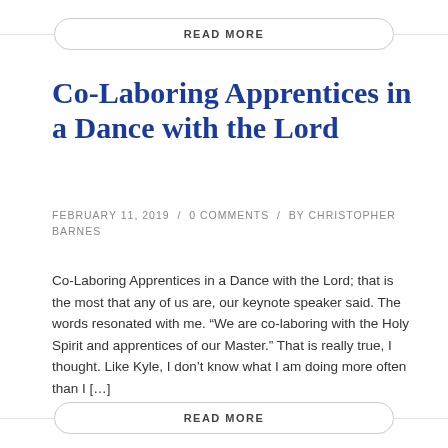READ MORE
Co-Laboring Apprentices in a Dance with the Lord
FEBRUARY 11, 2019 / 0 COMMENTS / BY CHRISTOPHER BARNES
Co-Laboring Apprentices in a Dance with the Lord; that is the most that any of us are, our keynote speaker said. The words resonated with me. “We are co-laboring with the Holy Spirit and apprentices of our Master.” That is really true, I thought. Like Kyle, I don’t know what I am doing more often than I […]
READ MORE